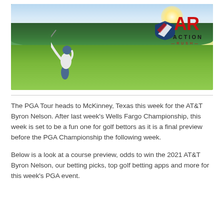[Figure (photo): A golfer mid-swing on a golf course fairway, with trees and water hazard visible. The Action Rush logo is overlaid in the upper right of the image, featuring a red 'AR' monogram and 'ACTION RUSH' text.]
The PGA Tour heads to McKinney, Texas this week for the AT&T Byron Nelson. After last week's Wells Fargo Championship, this week is set to be a fun one for golf bettors as it is a final preview before the PGA Championship the following week.
Below is a look at a course preview, odds to win the 2021 AT&T Byron Nelson, our betting picks, top golf betting apps and more for this week's PGA event.